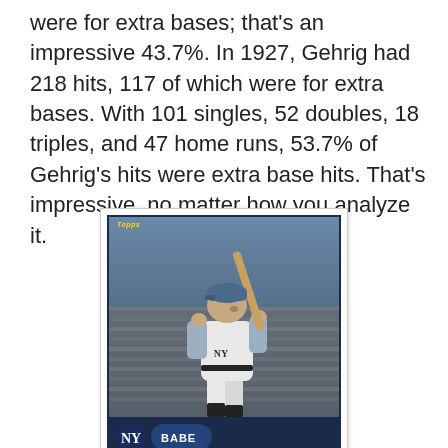were for extra bases; that's an impressive 43.7%. In 1927, Gehrig had 218 hits, 117 of which were for extra bases. With 101 singles, 52 doubles, 18 triples, and 47 home runs, 53.7% of Gehrig's hits were extra base hits. That's impressive, no matter how you analyze it.
[Figure (photo): A Topps baseball card featuring Babe Ruth in a batting stance wearing a New York Yankees uniform. The card has a dark blue border and shows the Yankees NY logo and the name 'BABE' at the bottom.]